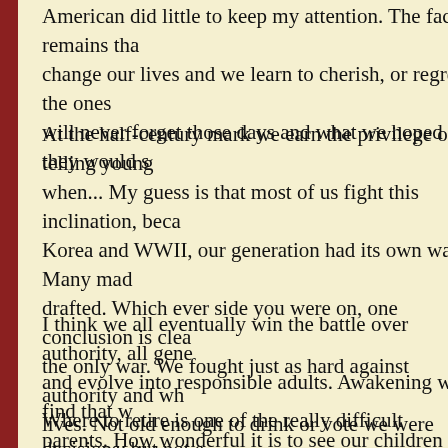American did little to keep my attention. The fact remains that change our lives and we learn to cherish, or regret, the ones will never forget those days and what we hoped they would s
At the half-century mark we earn the privilege of telling young when... My guess is that most of us fight this inclination, beca Korea and WWII, our generation had its own wars. Many mad drafted. Which ever side you were on, one conclusion is clea the only war. We fought just as hard against authority and wh lives. Not old enough to drink or vote we were always eligible we fared in Vietnam. But it is apparent that our nation is reluc went, some waited, some left, and we still remember classific
I think we all eventually win the battle over authority, all gene and evolve into responsible adults. Awakening we find that w parents. How wonderful it is to see our children grow into adu can be confident, that they will have something to recount to ourselves. So what will the future hold? Retirement seems to decisions concerning IRA's, stock plans, and pensions. We'll story a few thousand times right before we call it a day and re considering our next endeavors.
Where to retire is one of the really difficult decisions, but not retirement. Fortunately, I can imagine what I will do after retir complicated for me to contemplate now. (Maybe the best time told it's time. I've got too much to do and I hope it always re